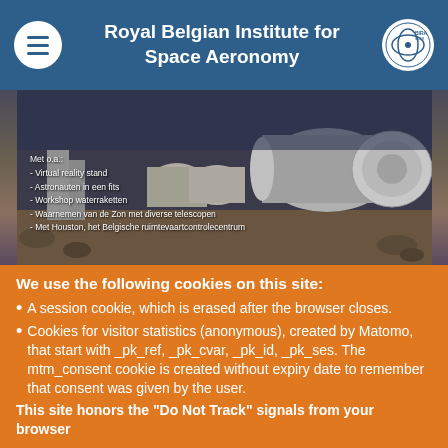Royal Belgian Institute for Space Aeronomy
[Figure (photo): Artistic rendering of a space base or Mars habitat with large cylindrical modules on a rocky planetary surface, with text overlay in Dutch listing event features: Mot o.a.: Virtual reality stand, Astronauten in een bits, Workshop waterraketten, Waarnemen van de Zon met diverse telescopen, Met Houston, het Belgische ruimtevaartcontrolecentrum]
We use the following cookies on this site:
A session cookie, which is erased after the browser closes.
Cookies for visitor statistics (anonymous), created by Matomo, that start with _pk_ref, _pk_cvar, _pk_id, _pk_ses. The mtm_consent cookie is created without expiry date to remember that consent was given by the user.
This site honors the "Do Not Track" signals from your browser